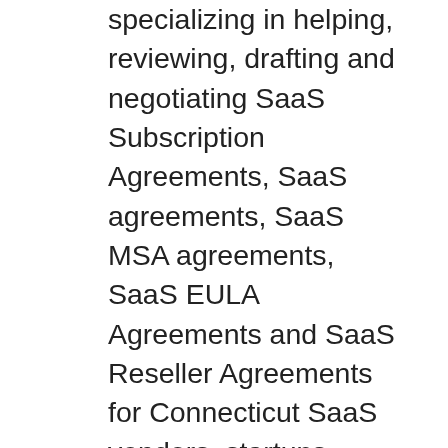specializing in helping, reviewing, drafting and negotiating SaaS Subscription Agreements, SaaS agreements, SaaS MSA agreements, SaaS EULA Agreements and SaaS Reseller Agreements for Connecticut SaaS vendors, startups, providers, developers, resellers, entrepreneurs and enterprise companies. Find best, top, leading, experienced, expert SaaS Agreements Lawyer Andrew S Bosin LLC specializing in helping, reviewing, drafting and negotiating SaaS Subscription Agreements, SaaS agreements, SaaS MSA agreements, SaaS EULA Agreements and SaaS Reseller Agreements for Minneapolis SaaS vendors, startups, providers, developers, resellers, entrepreneurs and enterprise companies. Find best, top, leading, experienced, expert SaaS Agreements Lawyer Andrew S Bosin LLC specializing in helping, reviewing, drafting and negotiating SaaS Subscription Agreements, SaaS agreements, SaaS MSA agreements, SaaS EULA Agreements and SaaS Reseller Agreements for San Francisco SaaS vendors, startups, providers,